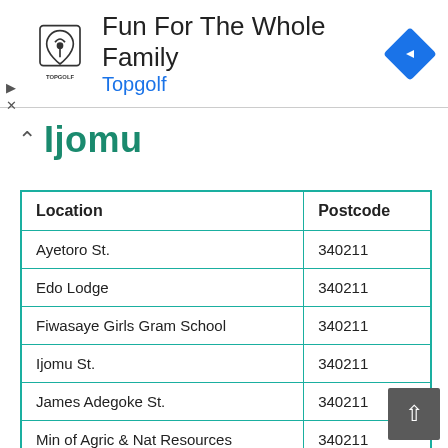[Figure (screenshot): Topgolf advertisement banner with logo, 'Fun For The Whole Family' headline, 'Topgolf' subheading in blue, and a navigation icon on the right. Play and close controls on the left.]
Ijomu
| Location | Postcode |
| --- | --- |
| Ayetoro St. | 340211 |
| Edo Lodge | 340211 |
| Fiwasaye Girls Gram School | 340211 |
| Ijomu St. | 340211 |
| James Adegoke St. | 340211 |
| Min of Agric & Nat Resources | 340211 |